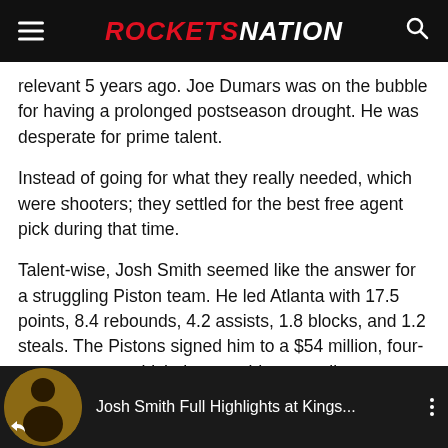ROCKETSNATION
relevant 5 years ago. Joe Dumars was on the bubble for having a prolonged postseason drought. He was desperate for prime talent.
Instead of going for what they really needed, which were shooters; they settled for the best free agent pick during that time.
Talent-wise, Josh Smith seemed like the answer for a struggling Piston team. He led Atlanta with 17.5 points, 8.4 rebounds, 4.2 assists, 1.8 blocks, and 1.2 steals. The Pistons signed him to a $54 million, four-year contract, which they would eventually regret. Their roster was an obvious clunky fit for Smith, who is used to playing power forward.
[Figure (screenshot): YouTube video thumbnail for 'Josh Smith Full Highlights at Kings...' with a circular player image on the left, white title text on dark background, and a vertical dots menu icon on the right. A share icon is visible in the bottom left.]